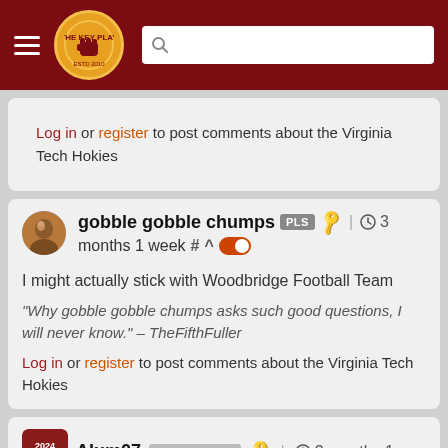The Key Play (site header with navigation and search)
Log in or register to post comments about the Virginia Tech Hokies
gobble gobble chumps PLS | 3 months 1 week # ^
I might actually stick with Woodbridge Football Team
"Why gobble gobble chumps asks such good questions, I will never know." – TheFifthFuller
Log in or register to post comments about the Virginia Tech Hokies
Alum07 ACC CHAMPS | 3 months 1